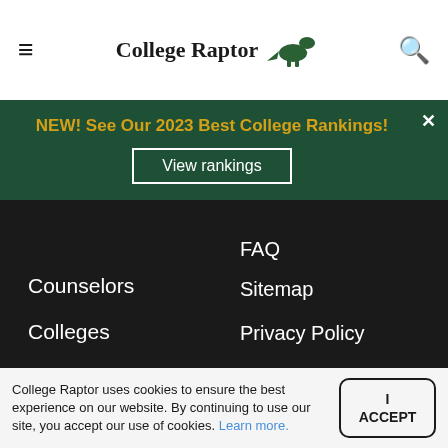[Figure (logo): College Raptor logo with hamburger menu and search icon in white header bar]
NEW! See Our 2023 Best College Rankings!
View rankings
FAQ
Counselors
Colleges
High Schools
Parents
Sitemap
Privacy Policy
Terms
Subscribe to our newsletter
College Raptor uses cookies to ensure the best experience on our website. By continuing to use our site, you accept our use of cookies. Learn more.